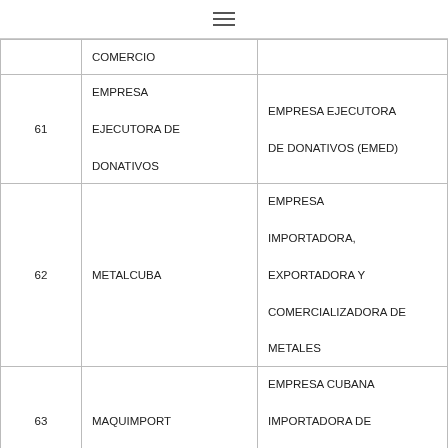≡
| # | Nombre | Descripción |
| --- | --- | --- |
|  | COMERCIO |  |
| 61 | EMPRESA EJECUTORA DE DONATIVOS | EMPRESA EJECUTORA DE DONATIVOS (EMED) |
| 62 | METALCUBA | EMPRESA IMPORTADORA, EXPORTADORA Y COMERCIALIZADORA DE METALES |
| 63 | MAQUIMPORT | EMPRESA CUBANA IMPORTADORA DE MAQUINARIAS, EQUIPOS |